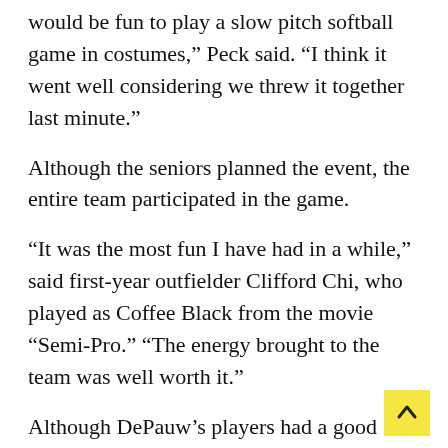would be fun to play a slow pitch softball game in costumes,” Peck said. “I think it went well considering we threw it together last minute.”
Although the seniors planned the event, the entire team participated in the game.
“It was the most fun I have had in a while,” said first-year outfielder Clifford Chi, who played as Coffee Black from the movie “Semi-Pro.” “The energy brought to the team was well worth it.”
Although DePauw’s players had a good time, their main goal was helping the little league.
“We figured that having people watch us play in ridiculous costumes would be a good and fun way to